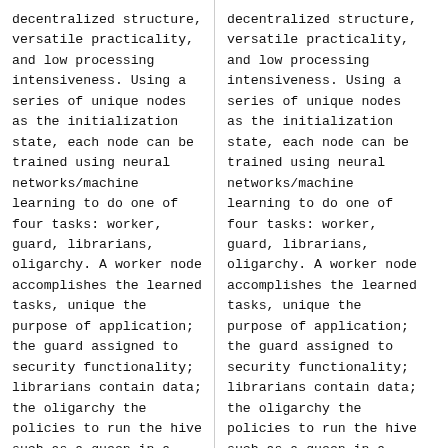decentralized structure, versatile practicality, and low processing intensiveness. Using a series of unique nodes as the initialization state, each node can be trained using neural networks/machine learning to do one of four tasks: worker, guard, librarians, oligarchy. A worker node accomplishes the learned tasks, unique the purpose of application; the guard assigned to security functionality; librarians contain data; the oligarchy the policies to run the hive such as a queen in a
decentralized structure, versatile practicality, and low processing intensiveness. Using a series of unique nodes as the initialization state, each node can be trained using neural networks/machine learning to do one of four tasks: worker, guard, librarians, oligarchy. A worker node accomplishes the learned tasks, unique the purpose of application; the guard assigned to security functionality; librarians contain data; the oligarchy the policies to run the hive such as a queen in a